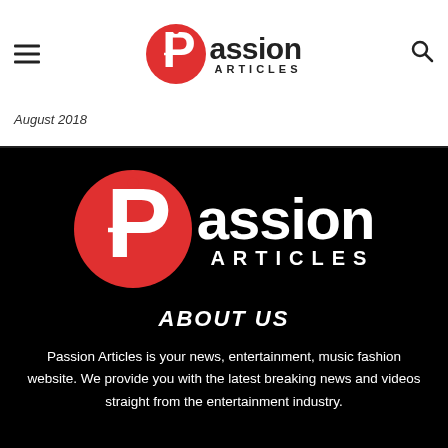Passion Articles
August 2018
[Figure (logo): Passion Articles logo on black background — red circle with white P letterform, white text 'Passion ARTICLES']
ABOUT US
Passion Articles is your news, entertainment, music fashion website. We provide you with the latest breaking news and videos straight from the entertainment industry.